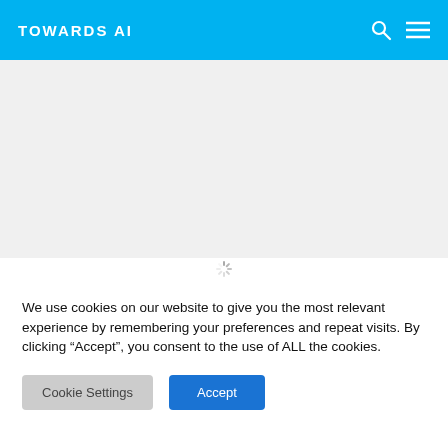TOWARDS AI
[Figure (screenshot): Loading spinner icon centered in a light gray content area below the navigation header]
We use cookies on our website to give you the most relevant experience by remembering your preferences and repeat visits. By clicking “Accept”, you consent to the use of ALL the cookies.
Cookie Settings   Accept